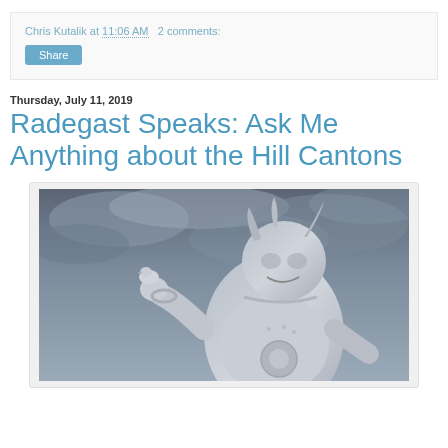Chris Kutalik at 11:06 AM   2 comments:
Share
Thursday, July 11, 2019
Radegast Speaks: Ask Me Anything about the Hill Cantons
[Figure (photo): Stone statue of a demon or mythological creature holding a bird, photographed against a dramatic cloudy sky in black and white tones.]